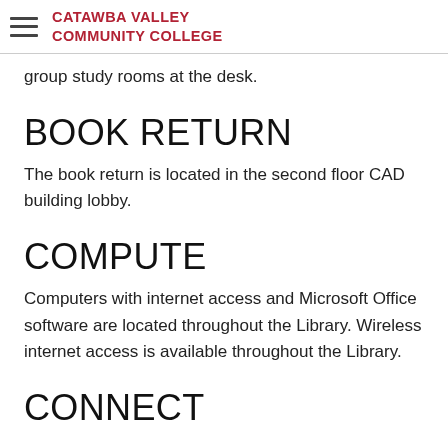CATAWBA VALLEY COMMUNITY COLLEGE
group study rooms at the desk.
BOOK RETURN
The book return is located in the second floor CAD building lobby.
COMPUTE
Computers with internet access and Microsoft Office software are located throughout the Library. Wireless internet access is available throughout the Library.
CONNECT